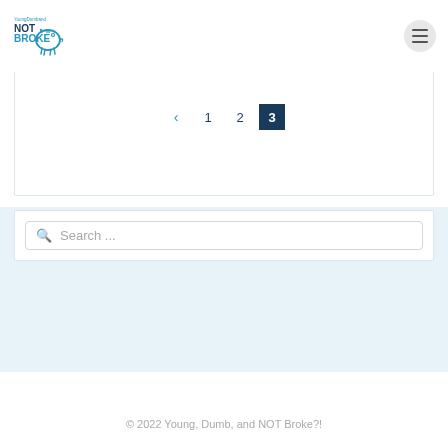[Figure (logo): Young Dumb and NOT BROKE piggy bank logo in teal and navy blue]
< 1 2 3 (pagination navigation, page 3 active)
Search ...
© 2022 Young, Dumb, and NOT Broke?!